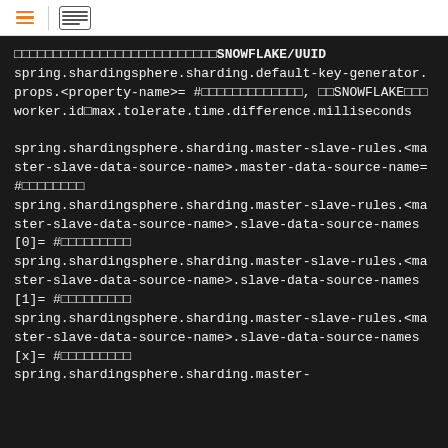menu | list-view icons
□□□□□□□□□□□□□□□□□□□□□□□□□□SNOWFLAKE/UUID
spring.shardingsphere.sharding.default-key-generator.props.<property-name>= #□□□□□□□□□□□□□, □□SNOWFLAKE□□□worker.id□max.tolerate.time.difference.milliseconds

spring.shardingsphere.sharding.master-slave-rules.<master-slave-data-source-name>.master-data-source-name= #□□□□□□□□
spring.shardingsphere.sharding.master-slave-rules.<master-slave-data-source-name>.slave-data-source-names[0]= #□□□□□□□□□
spring.shardingsphere.sharding.master-slave-rules.<master-slave-data-source-name>.slave-data-source-names[1]= #□□□□□□□□□
spring.shardingsphere.sharding.master-slave-rules.<master-slave-data-source-name>.slave-data-source-names[x]= #□□□□□□□□□
spring.shardingsphere.sharding.master-